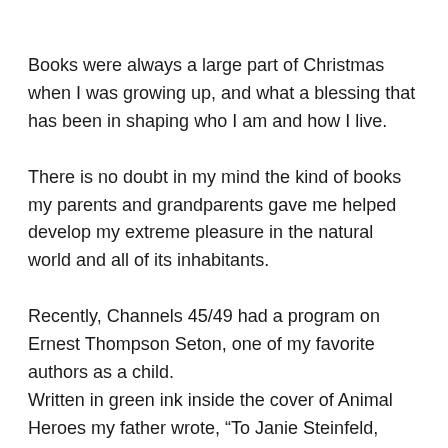Books were always a large part of Christmas when I was growing up, and what a blessing that has been in shaping who I am and how I live.
There is no doubt in my mind the kind of books my parents and grandparents gave me helped develop my extreme pleasure in the natural world and all of its inhabitants.
Recently, Channels 45/49 had a program on Ernest Thompson Seton, one of my favorite authors as a child.
Written in green ink inside the cover of Animal Heroes my father wrote, “To Janie Steinfeld, 3/22/30, from her Dad.”
On the opposite page, his mother had written in pencil, “From Mother to the Children.”